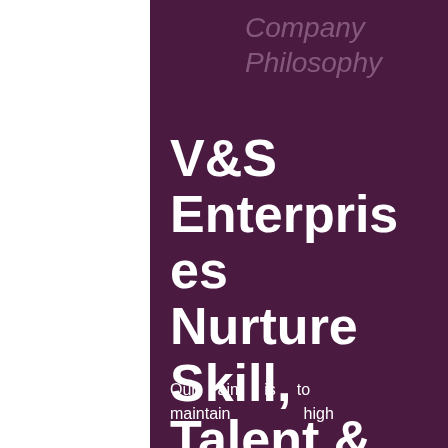Company Philosophy
V&S Enterprises Nurture Skill, Talent & Expertise
Our aim is to maintain high